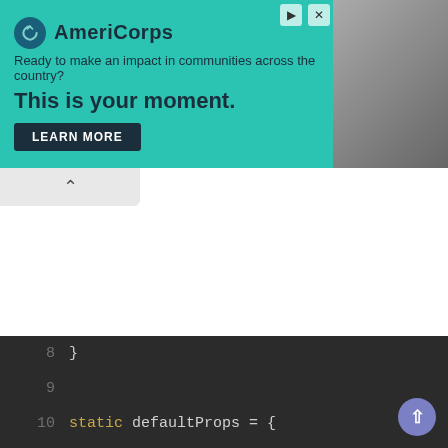[Figure (screenshot): AmeriCorps advertisement banner with teal background, logo, tagline 'Ready to make an impact in communities across the country?', headline 'This is your moment.', LEARN MORE button, and a photo of a person on the right.]
[Figure (screenshot): Code editor screenshot showing JavaScript code lines 8-24 with syntax highlighting on dark background. Lines include static defaultProps, errorMessage, placeholder, constructor, super, this.state, isVisible, search, emoji.]